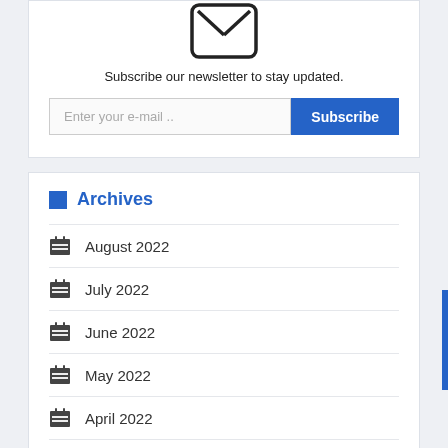[Figure (illustration): Envelope icon — a rounded rectangle with an X envelope shape inside]
Subscribe our newsletter to stay updated.
Enter your e-mail ..
Subscribe
Archives
August 2022
July 2022
June 2022
May 2022
April 2022
March 2022
February 2022